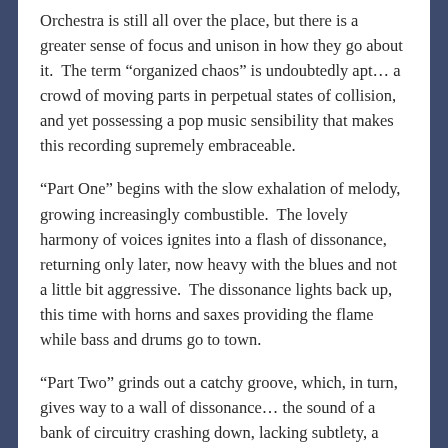Orchestra is still all over the place, but there is a greater sense of focus and unison in how they go about it.  The term “organized chaos” is undoubtedly apt… a crowd of moving parts in perpetual states of collision, and yet possessing a pop music sensibility that makes this recording supremely embraceable.
“Part One” begins with the slow exhalation of melody, growing increasingly combustible.  The lovely harmony of voices ignites into a flash of dissonance, returning only later, now heavy with the blues and not a little bit aggressive.  The dissonance lights back up, this time with horns and saxes providing the flame while bass and drums go to town.
“Part Two” grinds out a catchy groove, which, in turn, gives way to a wall of dissonance… the sound of a bank of circuitry crashing down, lacking subtlety, a hard unforgiving poetry.  But this is just another moment for a big reveal, as the dissonance sputters out and the peaceful